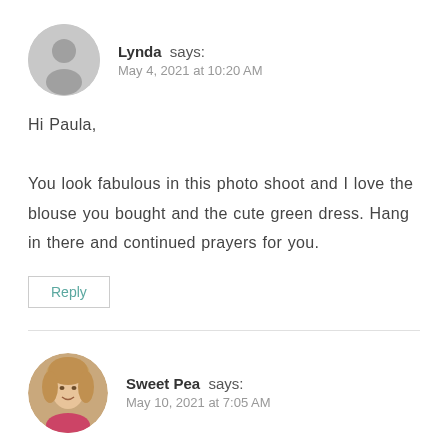[Figure (illustration): Generic grey circular avatar placeholder with silhouette of person, for user Lynda]
Lynda says:
May 4, 2021 at 10:20 AM
Hi Paula,

You look fabulous in this photo shoot and I love the blouse you bought and the cute green dress. Hang in there and continued prayers for you.
Reply
[Figure (photo): Circular profile photo of a woman with blonde hair, Sweet Pea]
Sweet Pea says:
May 10, 2021 at 7:05 AM
Thank you so much, Linda! I wore the red top